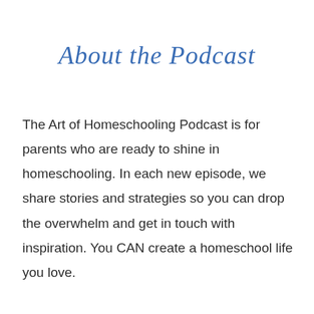About the Podcast
The Art of Homeschooling Podcast is for parents who are ready to shine in homeschooling. In each new episode, we share stories and strategies so you can drop the overwhelm and get in touch with inspiration. You CAN create a homeschool life you love.